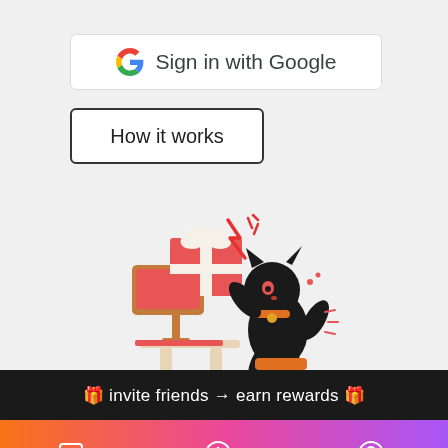[Figure (screenshot): Sign in with Google button with Google 'G' multicolor logo]
[Figure (screenshot): How it works button with black border]
[Figure (illustration): Cartoon black cat sitting in office chair, excited by a red gift box on a computer desk, with lightning/star burst effects]
🎁 invite friends → earn rewards 🎁
[Figure (screenshot): Bottom navigation bar with gradient from orange to purple, with Explore, New post, and My codes icons]